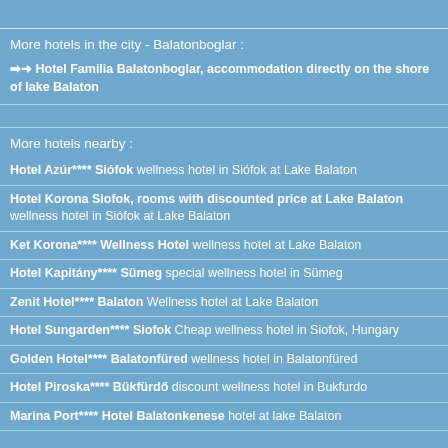More hotels in the city - Balatonboglar :
➡➜ Hotel Familia Balatonboglar, accommodation directly on the shore of lake Balaton
More hotels nearby :
Hotel Azúr**** Siófok wellness hotel in Siófok at Lake Balaton
Hotel Korona Siofok, rooms with discounted price at Lake Balaton wellness hotel in Siófok at Lake Balaton
Ket Korona**** Wellness Hotel wellness hotel at Lake Balaton
Hotel Kapitány**** Sümeg special wellness hotel in Sümeg
Zenit Hotel**** Balaton Wellness hotel at Lake Balaton
Hotel Sungarden**** Siofok Cheap wellness hotel in Siofok, Hungary
Golden Hotel**** Balatonfüred wellness hotel in Balatonfüred
Hotel Piroska**** Bükfürdő discount wellness hotel in Bukfurdo
Marina Port**** Hotel Balatonkenese hotel at lake Balaton